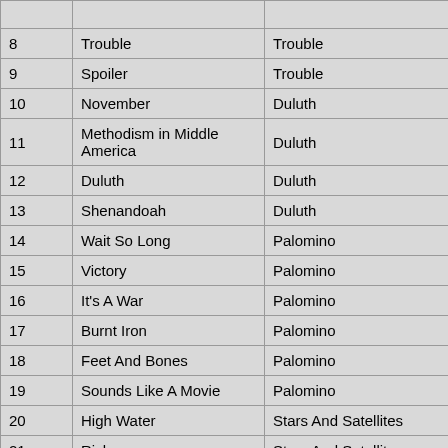| # | Song | Album |
| --- | --- | --- |
| 8 | Trouble | Trouble |
| 9 | Spoiler | Trouble |
| 10 | November | Duluth |
| 11 | Methodism in Middle America | Duluth |
| 12 | Duluth | Duluth |
| 13 | Shenandoah | Duluth |
| 14 | Wait So Long | Palomino |
| 15 | Victory | Palomino |
| 16 | It's A War | Palomino |
| 17 | Burnt Iron | Palomino |
| 18 | Feet And Bones | Palomino |
| 19 | Sounds Like A Movie | Palomino |
| 20 | High Water | Stars And Satellites |
| 21 | Risk | Stars And Satellites |